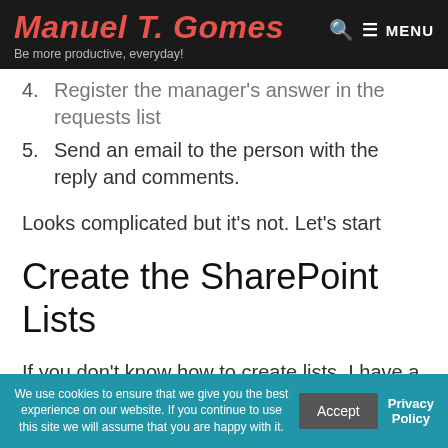Manuel T. Gomes — Be more productive, everyday!
4. Register the manager's answer in the requests list
5. Send an email to the person with the reply and comments.
Looks complicated but it's not. Let's start
Create the SharePoint Lists
If you don't know how to create lists, I have a step-by-step tutorial on how to do it and the best practices to create them.
We use cookies to ensure that we give you the best experience on our website. If you continue to use this site we will assume that you are happy with it.